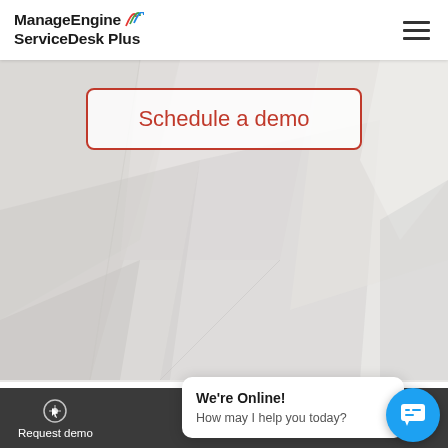ManageEngine ServiceDesk Plus
[Figure (screenshot): Abstract geometric white/light gray background with polygonal 3D-like shapes forming a decorative hero section]
Schedule a demo
[Figure (screenshot): Chat popup widget showing 'We're Online! How may I help you today?' with a blue chat bubble button]
We're Online! How may I help you today?
Request demo